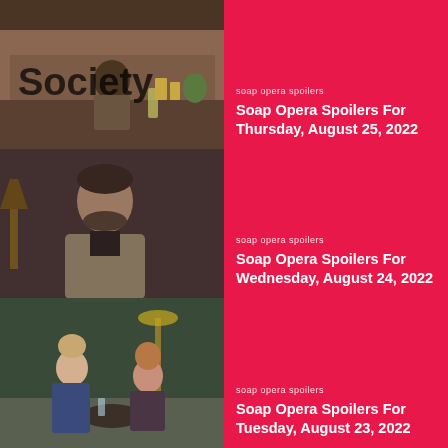[Figure (photo): Man sitting alone at a bar table with a beer at Society restaurant with brick wall and large SOCIETY sign]
soap opera spoilers
Soap Opera Spoilers For Thursday, August 25, 2022
[Figure (photo): Man with short dark hair and beard wearing a khaki jacket looking serious]
soap opera spoilers
Soap Opera Spoilers For Wednesday, August 24, 2022
[Figure (photo): Two women sitting at a round table in a lounge having a conversation]
soap opera spoilers
Soap Opera Spoilers For Tuesday, August 23, 2022